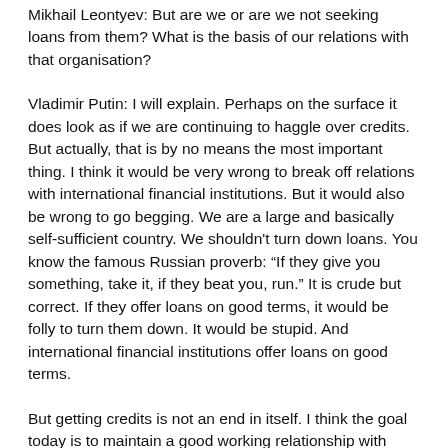Mikhail Leontyev: But are we or are we not seeking loans from them? What is the basis of our relations with that organisation?
Vladimir Putin: I will explain. Perhaps on the surface it does look as if we are continuing to haggle over credits. But actually, that is by no means the most important thing. I think it would be very wrong to break off relations with international financial institutions. But it would also be wrong to go begging. We are a large and basically self-sufficient country. We shouldn't turn down loans. You know the famous Russian proverb: “If they give you something, take it, if they beat you, run.” It is crude but correct. If they offer loans on good terms, it would be folly to turn them down. It would be stupid. And international financial institutions offer loans on good terms.
But getting credits is not an end in itself. I think the goal today is to maintain a good working relationship with international financial institutions, including the IMF as a specialist